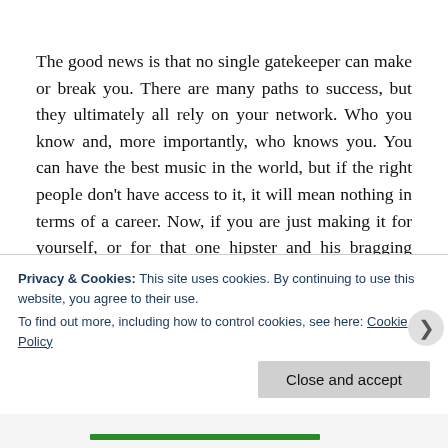The good news is that no single gatekeeper can make or break you. There are many paths to success, but they ultimately all rely on your network. Who you know and, more importantly, who knows you. You can have the best music in the world, but if the right people don't have access to it, it will mean nothing in terms of a career. Now, if you are just making it for yourself, or for that one hipster and his bragging rights for finding your unknown work after an all-night smug fueled search, driven by the constant worry that he won't be allowed in the
Privacy & Cookies: This site uses cookies. By continuing to use this website, you agree to their use.
To find out more, including how to control cookies, see here: Cookie Policy